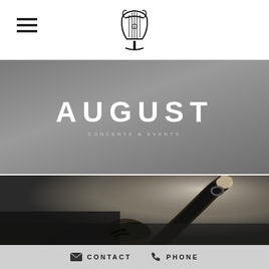Navigation hamburger menu and orchestra logo
AUGUST
[Figure (photo): Black and white photograph of a conductor with arm raised, pointing upward, viewed from below. The conductor has dark hair and is wearing dark clothing.]
CONTACT  PHONE